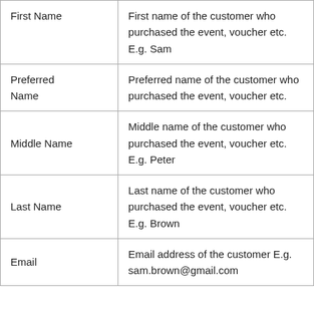| Field | Description |
| --- | --- |
| First Name | First name of the customer who purchased the event, voucher etc. E.g. Sam |
| Preferred Name | Preferred name of the customer who purchased the event, voucher etc. |
| Middle Name | Middle name of the customer who purchased the event, voucher etc. E.g. Peter |
| Last Name | Last name of the customer who purchased the event, voucher etc. E.g. Brown |
| Email | Email address of the customer E.g. sam.brown@gmail.com |